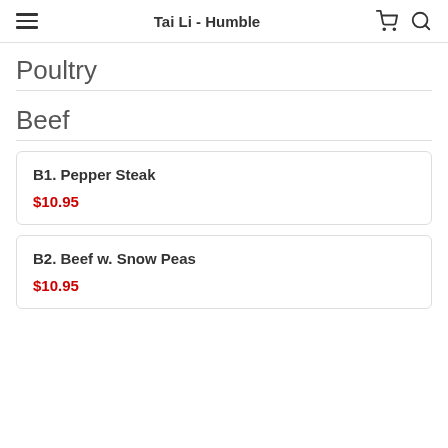Tai Li - Humble
Poultry
Beef
B1. Pepper Steak
$10.95
B2. Beef w. Snow Peas
$10.95